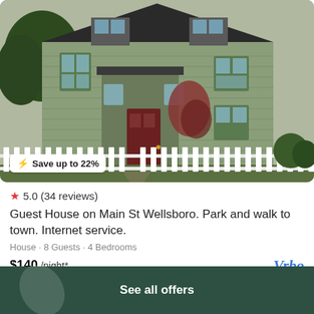[Figure (photo): Green two-story house with white picket fence, trees visible, front porch with dark door, photograph taken in autumn/fall season]
Save up to 22%
★ 5.0 (34 reviews)
Guest House on Main St Wellsboro. Park and walk to town. Internet service.
House · 8 Guests · 4 Bedrooms
$140 /night*
Vrbo
View deal
See all offers